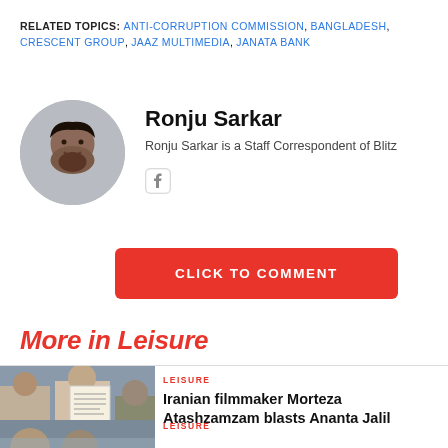RELATED TOPICS: ANTI-CORRUPTION COMMISSION, BANGLADESH, CRESCENT GROUP, JAAZ MULTIMEDIA, JANATA BANK
Ronju Sarkar
Ronju Sarkar is a Staff Correspondent of Blitz
[Figure (photo): Circular portrait photo of Ronju Sarkar]
[Figure (logo): Facebook social media icon]
CLICK TO COMMENT
More in Leisure
LEISURE
Iranian filmmaker Morteza Atashzamzam blasts Ananta Jalil
[Figure (photo): Photo of people at an event, one holding a document]
LEISURE
[Figure (photo): Partial photo of people visible at bottom]